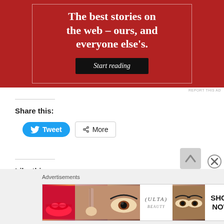[Figure (screenshot): Red advertisement banner with white serif text reading 'The best stories on the web – ours, and everyone else's.' with a black 'Start reading' button, inside a bordered box on a dark red background]
REPORT THIS AD
Share this:
[Figure (screenshot): Twitter Tweet button (blue with bird icon) and a More share button (white with share icon)]
Like this:
Loading...
Advertisements
[Figure (screenshot): Ulta Beauty advertisement strip showing beauty/makeup photos including lips, brush, eye, Ulta logo, model eyes, and SHOP NOW text]